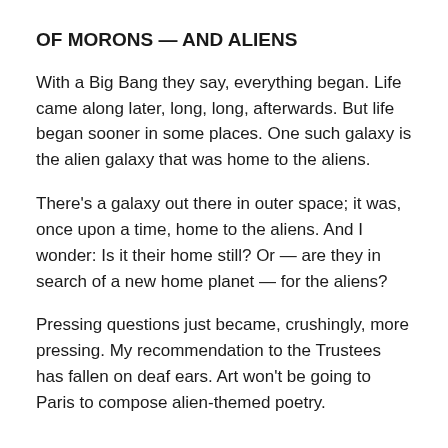OF MORONS — AND ALIENS
With a Big Bang they say, everything began. Life came along later, long, long, afterwards. But life began sooner in some places. One such galaxy is the alien galaxy that was home to the aliens.
There's a galaxy out there in outer space; it was, once upon a time, home to the aliens. And I wonder: Is it their home still? Or — are they in search of a new home planet — for the aliens?
Pressing questions just became, crushingly, more pressing. My recommendation to the Trustees has fallen on deaf ears. Art won't be going to Paris to compose alien-themed poetry.